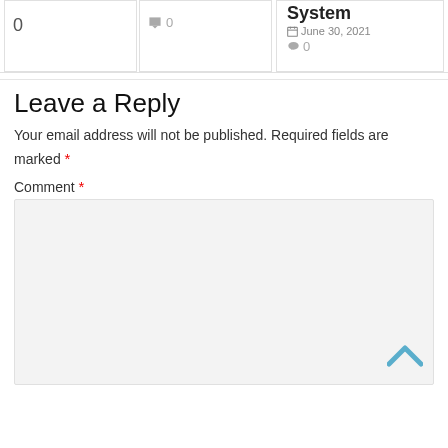0
0
System
June 30, 2021
0
Leave a Reply
Your email address will not be published. Required fields are marked *
Comment *